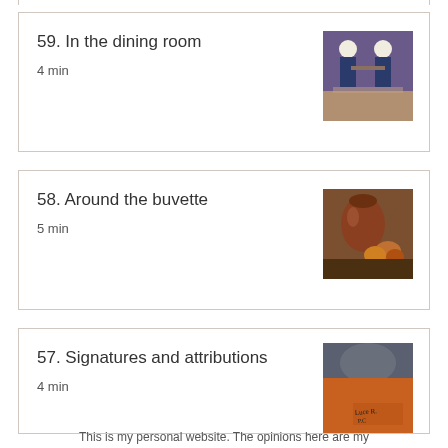59. In the dining room
4 min
58. Around the buvette
5 min
57. Signatures and attributions
4 min
This is my personal website. The opinions here are my